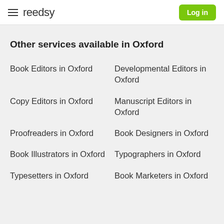reedsy | Log in
Other services available in Oxford
Book Editors in Oxford
Developmental Editors in Oxford
Copy Editors in Oxford
Manuscript Editors in Oxford
Proofreaders in Oxford
Book Designers in Oxford
Book Illustrators in Oxford
Typographers in Oxford
Typesetters in Oxford
Book Marketers in Oxford